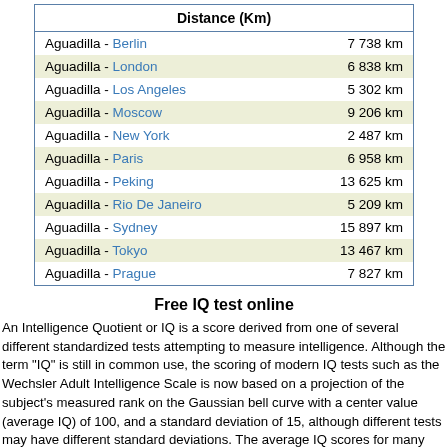| Distance (Km) |
| --- |
| Aguadilla - Berlin | 7 738 km |
| Aguadilla - London | 6 838 km |
| Aguadilla - Los Angeles | 5 302 km |
| Aguadilla - Moscow | 9 206 km |
| Aguadilla - New York | 2 487 km |
| Aguadilla - Paris | 6 958 km |
| Aguadilla - Peking | 13 625 km |
| Aguadilla - Rio De Janeiro | 5 209 km |
| Aguadilla - Sydney | 15 897 km |
| Aguadilla - Tokyo | 13 467 km |
| Aguadilla - Prague | 7 827 km |
Free IQ test online
An Intelligence Quotient or IQ is a score derived from one of several different standardized tests attempting to measure intelligence. Although the term "IQ" is still in common use, the scoring of modern IQ tests such as the Wechsler Adult Intelligence Scale is now based on a projection of the subject's measured rank on the Gaussian bell curve with a center value (average IQ) of 100, and a standard deviation of 15, although different tests may have different standard deviations. The average IQ scores for many populations have been rising at an average rate of three points per decade since the early 20th century with most of the increase in the lower half of the IQ range: a phenomenon called the Flynn effect. It is disputed whether these changes in scores reflect real changes in intellectual abilities, or merely methodological